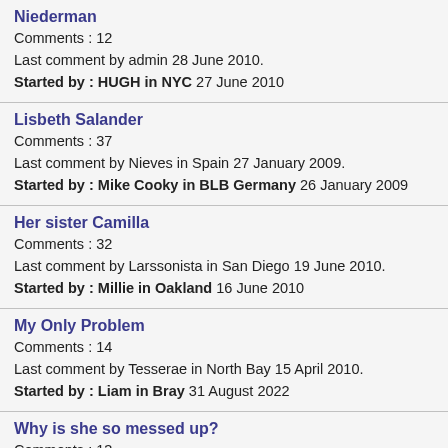Niederman
Comments : 12
Last comment by admin 28 June 2010.
Started by : HUGH in NYC 27 June 2010
Lisbeth Salander
Comments : 37
Last comment by Nieves in Spain 27 January 2009.
Started by : Mike Cooky in BLB Germany 26 January 2009
Her sister Camilla
Comments : 32
Last comment by Larssonista in San Diego 19 June 2010.
Started by : Millie in Oakland 16 June 2010
My Only Problem
Comments : 14
Last comment by Tesserae in North Bay 15 April 2010.
Started by : Liam in Bray 31 August 2022
Why is she so messed up?
Comments : 13
Last comment by Lily in Atlanta 18 July 2010.
Started by : Just Wondering ... in Minneapolis 17 July 2010